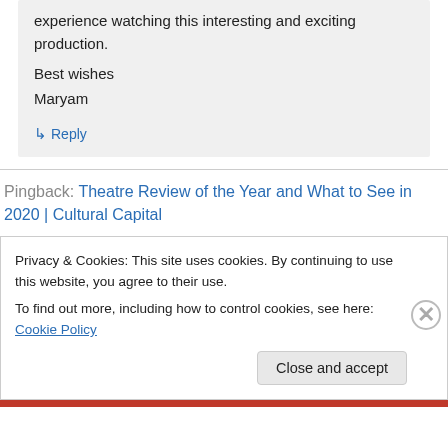experience watching this interesting and exciting production.
Best wishes
Maryam
↳ Reply
Pingback: Theatre Review of the Year and What to See in 2020 | Cultural Capital
Privacy & Cookies: This site uses cookies. By continuing to use this website, you agree to their use.
To find out more, including how to control cookies, see here: Cookie Policy
Close and accept